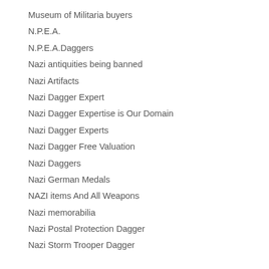Museum of Militaria buyers
N.P.E.A.
N.P.E.A.Daggers
Nazi antiquities being banned
Nazi Artifacts
Nazi Dagger Expert
Nazi Dagger Expertise is Our Domain
Nazi Dagger Experts
Nazi Dagger Free Valuation
Nazi Daggers
Nazi German Medals
NAZI items And All Weapons
Nazi memorabilia
Nazi Postal Protection Dagger
Nazi Storm Trooper Dagger